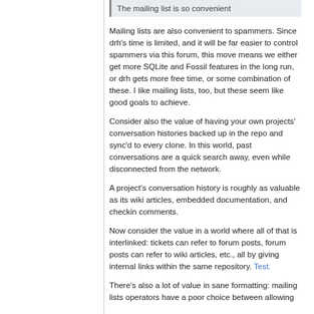The mailing list is so convenient
Mailing lists are also convenient to spammers. Since drh's time is limited, and it will be far easier to control spammers via this forum, this move means we either get more SQLite and Fossil features in the long run, or drh gets more free time, or some combination of these. I like mailing lists, too, but these seem like good goals to achieve.
Consider also the value of having your own projects' conversation histories backed up in the repo and sync'd to every clone. In this world, past conversations are a quick search away, even while disconnected from the network.
A project's conversation history is roughly as valuable as its wiki articles, embedded documentation, and checkin comments.
Now consider the value in a world where all of that is interlinked: tickets can refer to forum posts, forum posts can refer to wiki articles, etc., all by giving internal links within the same repository. Test.
There's also a lot of value in sane formatting: mailing lists operators have a poor choice between allowing